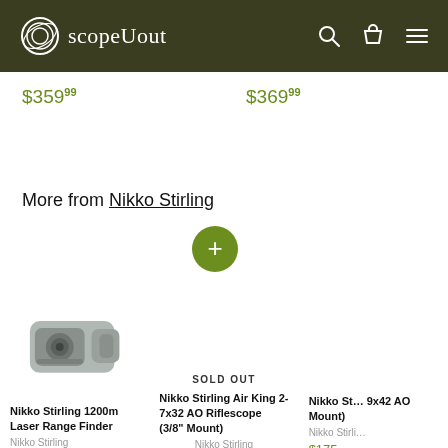scopeUout
$359.99
$369.99
More from Nikko Stirling
[Figure (screenshot): Green circular plus button for adding to cart]
[Figure (photo): Nikko Stirling 1200m Laser Range Finder product image - grey handheld rangefinder device]
SOLD OUT
Nikko Stirling 1200m Laser Range Finder
Nikko Stirling
$399.99
Nikko Stirling Air King 2-7x32 AO Riflescope (3/8" Mount)
Nikko Stirling
Nikko Stirling 9x42 AO Riflescope (3/8" Mount) [truncated]
Nikko Stirling